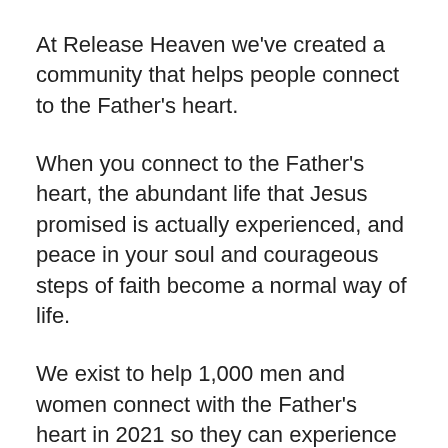At Release Heaven we've created a community that helps people connect to the Father's heart.
When you connect to the Father's heart, the abundant life that Jesus promised is actually experienced, and peace in your soul and courageous steps of faith become a normal way of life.
We exist to help 1,000 men and women connect with the Father's heart in 2021 so they can experience radical transformation by the grace of God.